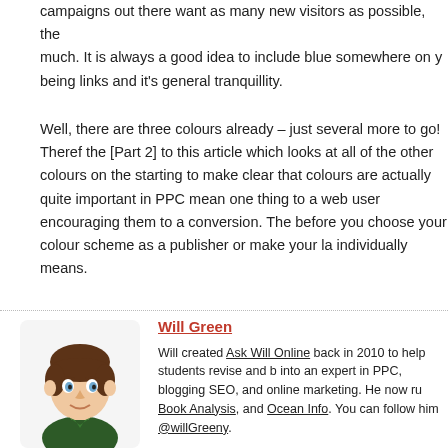campaigns out there want as many new visitors as possible, the much. It is always a good idea to include blue somewhere on y being links and it's general tranquillity.
Well, there are three colours already – just several more to go! Theref the [Part 2] to this article which looks at all of the other colours on the starting to make clear that colours are actually quite important in PPC mean one thing to a web user encouraging them to a conversion. The before you choose your colour scheme as a publisher or make your la individually means.
[Figure (illustration): Cartoon avatar of a young man with brown hair and green shirt]
Will Green
Will created Ask Will Online back in 2010 to help students revise and b into an expert in PPC, blogging SEO, and online marketing. He now ru Book Analysis, and Ocean Info. You can follow him @willGreeny.
• View my posts  • Visit my homepage